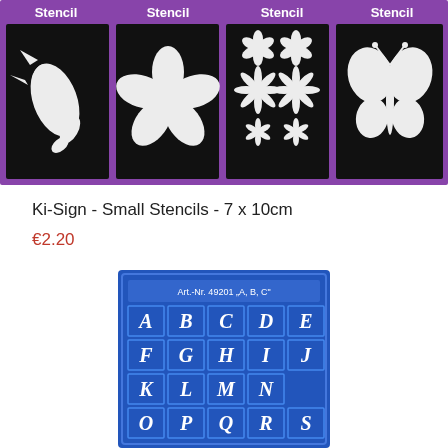[Figure (photo): Four black stencil cards in a purple-bordered grid, each labeled 'Stencil' at top. Designs include: dragon, hibiscus flower, multiple flowers/daisies, and butterfly.]
Ki-Sign - Small Stencils - 7 x 10cm
€2.20
[Figure (photo): Blue stencil card labeled Art.-Nr. 49201 'A, B, C' showing alphabet letters A-S arranged in a grid pattern on blue background with white italic letters.]